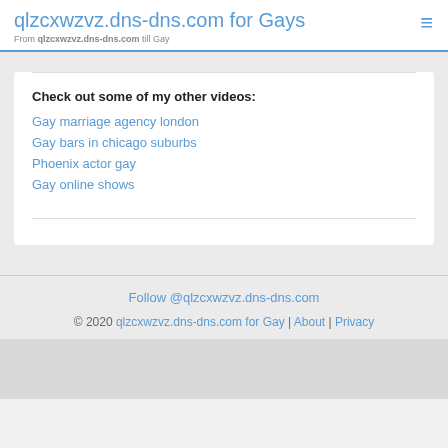qlzcxwzvz.dns-dns.com for Gays
From qlzcxwzvz.dns-dns.com till Gay
Check out some of my other videos:
Gay marriage agency london
Gay bars in chicago suburbs
Phoenix actor gay
Gay online shows
Follow @qlzcxwzvz.dns-dns.com
© 2020 qlzcxwzvz.dns-dns.com for Gay | About | Privacy